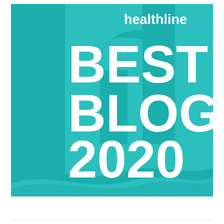[Figure (logo): Healthline Best Blog 2020 badge for Senior Health. Teal/turquoise background with stylized 'h' letterform, white bold text reading BEST BLOG 2020, subtitle Senior Health, and 'healthline' wordmark in upper right.]